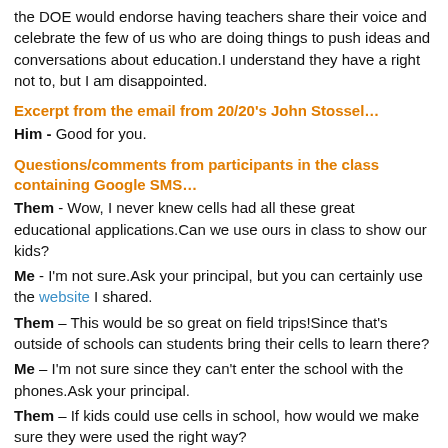the DOE would endorse having teachers share their voice and celebrate the few of us who are doing things to push ideas and conversations about education.I understand they have a right not to, but I am disappointed.
Excerpt from the email from 20/20's John Stossel…
Him - Good for you.
Questions/comments from participants in the class containing Google SMS…
Them - Wow, I never knew cells had all these great educational applications.Can we use ours in class to show our kids?
Me - I'm not sure.Ask your principal, but you can certainly use the website I shared.
Them – This would be so great on field trips!Since that's outside of schools can students bring their cells to learn there?
Me – I'm not sure since they can't enter the school with the phones.Ask your principal.
Them – If kids could use cells in school, how would we make sure they were used the right way?
Me – See answer to my mom.
Them – But if we had cells in school kids could use them to capture pictures and videos of teachers doing things wrong and put them on the internet and they could take pictures and videos of each other and put them on the internet.
Me – Ummm…cameras aren't banned.Laptops which also can